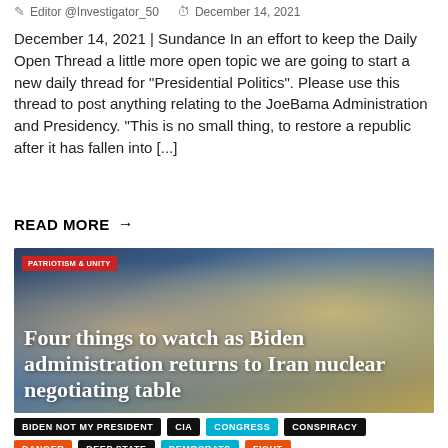Editor @Investigator_50   December 14, 2021
December 14, 2021 | Sundance In an effort to keep the Daily Open Thread a little more open topic we are going to start a new daily thread for "Presidential Politics". Please use this thread to post anything relating to the JoeBama Administration and Presidency. "This is no small thing, to restore a republic after it has fallen into [...]
READ MORE →
[Figure (photo): Photo of President Biden overlaid with text headline: 'Four things to watch as Biden administration returns to Iran nuclear negotiating table'. Red tag in top left reads 'PATRIOTISM & UNITY'.]
BIDEN NOT MY PRESIDENT
CIA
CONGRESS
CONSPIRACY
DANGER
DEEP STATE
DEMOCRATS
FIGHT